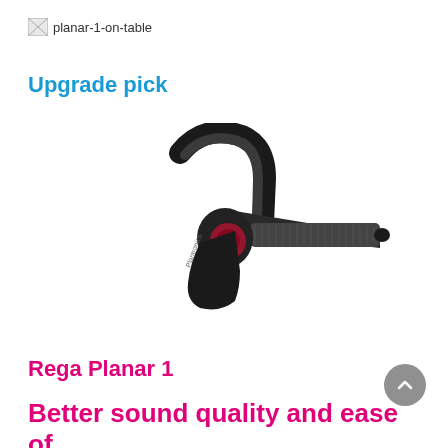[Figure (photo): Broken image placeholder labeled 'planar-1-on-table']
Upgrade pick
[Figure (photo): Bluetooth wireless mono earpiece headset with ear hook and extended boom microphone arm, black color with textured gray microphone]
Rega Planar 1
Better sound quality and ease of